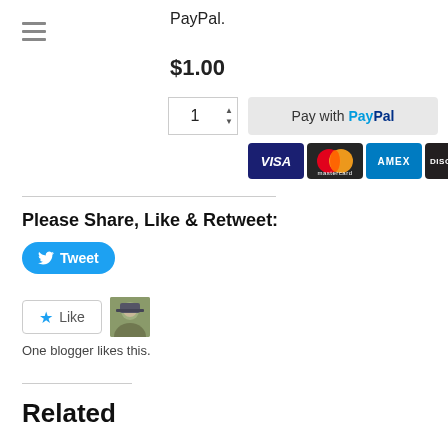PayPal.
$1.00
[Figure (screenshot): PayPal payment button with quantity spinner and card icons (VISA, Mastercard, AMEX, DISCOVER)]
Please Share, Like & Retweet:
[Figure (other): Tweet button (blue rounded rectangle with Twitter bird icon and 'Tweet' label)]
[Figure (other): Like button with star icon and blogger avatar photo]
One blogger likes this.
Related